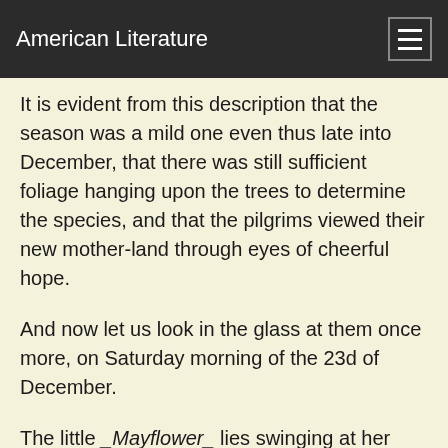American Literature
It is evident from this description that the season was a mild one even thus late into December, that there was still sufficient foliage hanging upon the trees to determine the species, and that the pilgrims viewed their new mother-land through eyes of cheerful hope.
And now let us look in the glass at them once more, on Saturday morning of the 23d of December.
The little _Mayflower_ lies swinging at her moorings in the harbor, while every man and boy who could use a tool has gone on shore to cut down and prepare timber for future houses.